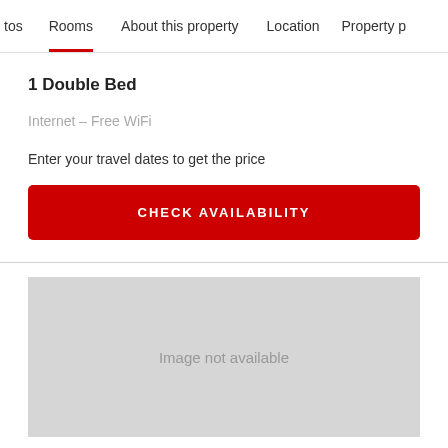tos  Rooms  About this property  Location  Property p
1 Double Bed
Internet – Free WiFi
Enter your travel dates to get the price
CHECK AVAILABILITY
[Figure (other): Image not available placeholder (grey box)]